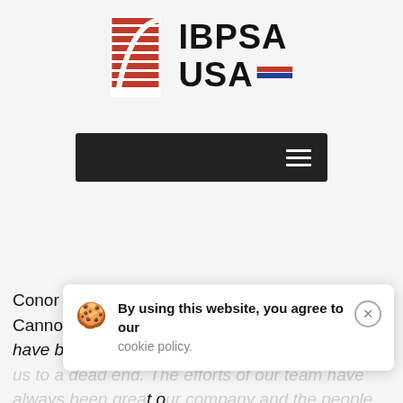[Figure (logo): IBPSA USA logo with red and white horizontal lines graphic on the left and bold text 'IBPSA USA' on the right with red/blue underlines]
[Figure (screenshot): Dark navigation bar with hamburger menu icon (three white horizontal lines) on the right side]
Conor Rielly, Building Energy Analyst at CannonDesign, replies: "Dear Consistency, We have been down this path b[...] e[...] o[...]
[Figure (screenshot): Cookie consent banner: cookie emoji icon, text 'By using this website, you agree to our cookie policy.' with an X close button]